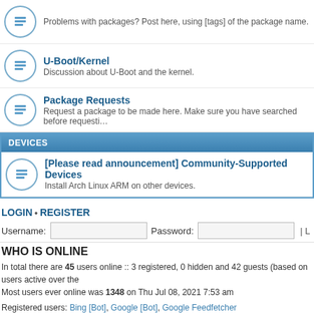Problems with packages? Post here, using [tags] of the package name.
U-Boot/Kernel
Discussion about U-Boot and the kernel.
Package Requests
Request a package to be made here. Make sure you have searched before requesting.
DEVICES
[Please read announcement] Community-Supported Devices
Install Arch Linux ARM on other devices.
LOGIN • REGISTER
Username: [input] Password: [input] | L
WHO IS ONLINE
In total there are 45 users online :: 3 registered, 0 hidden and 42 guests (based on users active over the last 5 minutes)
Most users ever online was 1348 on Thu Jul 08, 2021 7:53 am
Registered users: Bing [Bot], Google [Bot], Google Feedfetcher
Legend: Administrators, Global moderators
STATISTICS
Total posts 58587 • Total topics 11301 • Total members 12218 • Our newest member Sharelter
Board index